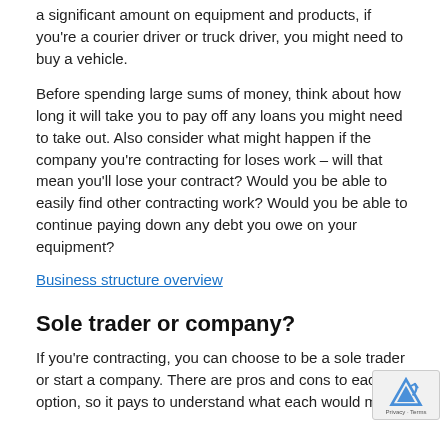a significant amount on equipment and products, if you're a courier driver or truck driver, you might need to buy a vehicle.
Before spending large sums of money, think about how long it will take you to pay off any loans you might need to take out. Also consider what might happen if the company you're contracting for loses work – will that mean you'll lose your contract? Would you be able to easily find other contracting work? Would you be able to continue paying down any debt you owe on your equipment?
Business structure overview
Sole trader or company?
If you're contracting, you can choose to be a sole trader or start a company. There are pros and cons to each option, so it pays to understand what each would mean